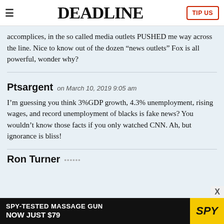DEADLINE | TIP US
accomplices, in the so called media outlets PUSHED me way across the line. Nice to know out of the dozen “news outlets” Fox is all powerful, wonder why?
Ptsargent on March 10, 2019 9:05 am
I’m guessing you think 3%GDP growth, 4.3% unemployment, rising wages, and record unemployment of blacks is fake news? You wouldn’t know those facts if you only watched CNN. Ah, but ignorance is bliss!
Ron Turner
[Figure (other): Advertisement banner: SPY-TESTED MASSAGE GUN NOW JUST $79 with SPY logo]